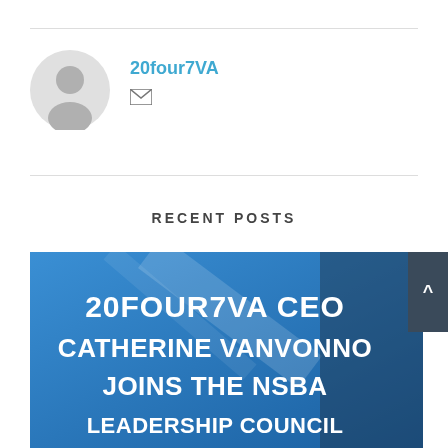[Figure (illustration): Gray circular avatar/profile placeholder icon with silhouette of a person]
20four7VA
[Figure (illustration): Email/envelope icon]
RECENT POSTS
[Figure (photo): Blue promotional banner image with bold white text reading '20FOUR7VA CEO CATHERINE VANVONNO JOINS THE NSBA LEADERSHIP COUNCIL' on a blue background with geometric design elements]